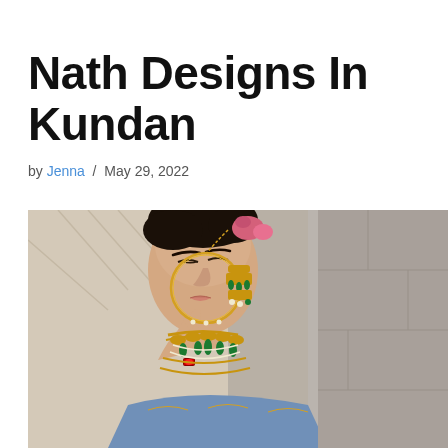Nath Designs In Kundan
by Jenna / May 29, 2022
[Figure (photo): A bride wearing elaborate Kundan jewelry including a large circular Nath (nose ring) with a chain, heavy gold and emerald necklace with pearls, large chandelier earrings, and a ruby ring, dressed in a blue embroidered lehenga with flowers in her hair.]